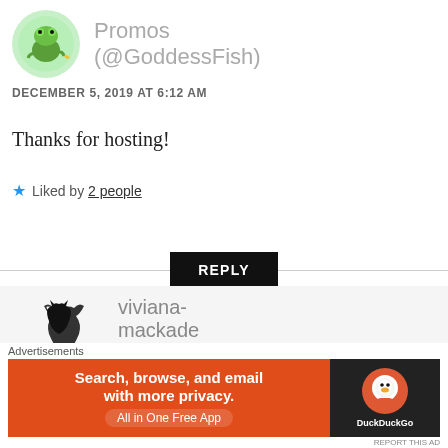[Figure (illustration): Circular avatar showing a cartoon frog illustration on a light green background]
Promos (@GoddessFish)
DECEMBER 5, 2019 AT 6:12 AM
Thanks for hosting!
Liked by 2 people
REPLY
[Figure (logo): Viviana MacKade logo showing a howling wolf silhouette with cursive text 'Viviana MacKade']
viviana-mackade
DECEMBER 5, 2019 AT
Advertisements
[Figure (screenshot): DuckDuckGo advertisement banner: orange section saying 'Search, browse, and email with more privacy. All in One Free App' and dark section with DuckDuckGo logo]